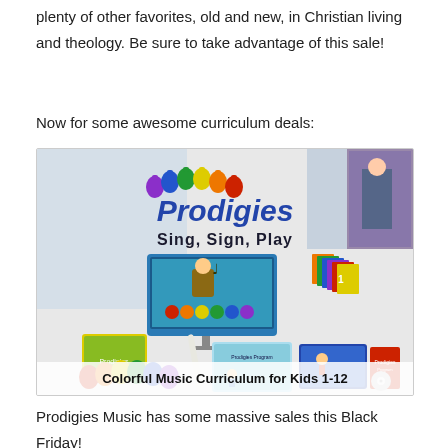plenty of other favorites, old and new, in Christian living and theology. Be sure to take advantage of this sale!
Now for some awesome curriculum deals:
[Figure (photo): Prodigies Music curriculum advertisement image showing colorful music products, a computer with music app, colored bells, books, DVDs, and a recorder. Text reads 'Prodigies Sing, Sign, Play' and 'Colorful Music Curriculum for Kids 1-12'.]
Prodigies Music has some massive sales this Black Friday!